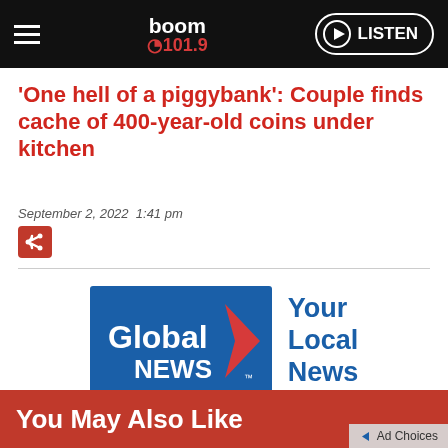boom 101.9 | LISTEN
'One hell of a piggybank': Couple finds cache of 400-year-old coins under kitchen
September 2, 2022  1:41 pm
[Figure (logo): Global News logo with red chevron arrow and text 'Global NEWS' on blue background, with text 'Your Local News' beside it]
You May Also Like